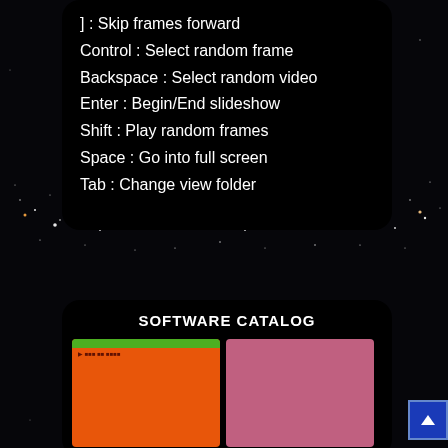] : Skip frames forward
Control : Select random frame
Backspace : Select random video
Enter : Begin/End slideshow
Shift : Play random frames
Space : Go into full screen
Tab : Change view folder
SOFTWARE CATALOG
[Figure (screenshot): Orange colored application window with green top bar and dark text]
[Figure (screenshot): Pink/mauve colored application window]